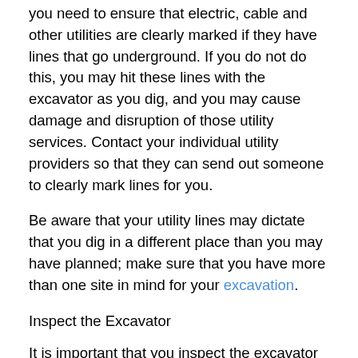you need to ensure that electric, cable and other utilities are clearly marked if they have lines that go underground. If you do not do this, you may hit these lines with the excavator as you dig, and you may cause damage and disruption of those utility services. Contact your individual utility providers so that they can send out someone to clearly mark lines for you.
Be aware that your utility lines may dictate that you dig in a different place than you may have planned; make sure that you have more than one site in mind for your excavation.
Inspect the Excavator
It is important that you inspect the excavator each day before starting work. Many people leave inspections up to the rental company, assuming that the rental company maintains its equipment. While this may be true, it is wise for you to personally check the excavator to ensure it is in good working condition before you use it, to avoid accidents. Look for cracks and dents in the bucket and undercarriage of the excavator, and be sure that all the hoses are intact. Complete operational checks to ensure that the excavator moves smoothly.